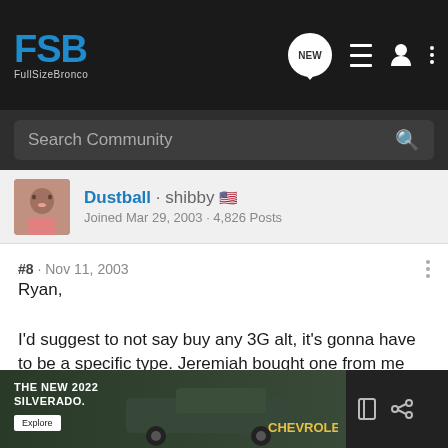FSB FullSizeBronco navigation bar with NEW, list, user, and menu icons
Search Community
Dustball · shibby 🇺🇸
Joined Mar 29, 2003 · 4,826 Posts
#8 · Nov 11, 2003
Ryan,

I'd suggest to not say buy any 3G alt, it's gonna have to be a specific type. Jeremiah bought one from me and apparently he's having a problem getting it to fit. You should probably wait until he can see what he can do about it before recommending a certain 3G alt.
[Figure (screenshot): Advertisement for The New 2022 Silverado by Chevrolet with Explore button]